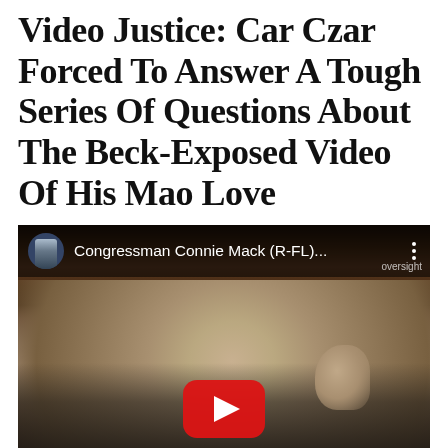Video Justice: Car Czar Forced To Answer A Tough Series Of Questions About The Beck-Exposed Video Of His Mao Love
[Figure (screenshot): YouTube video thumbnail showing a man in a dark suit at what appears to be a congressional hearing. The video is titled 'Congressman Connie Mack (R-FL)...' with a YouTube play button overlay. The channel appears to be an oversight committee channel.]